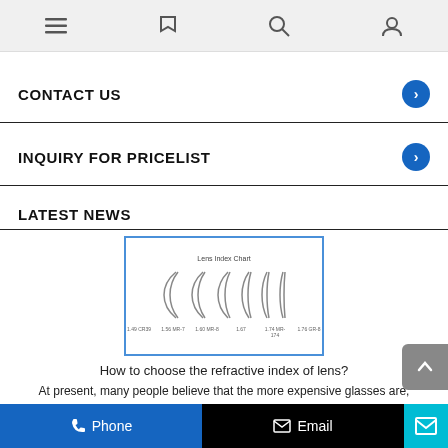Navigation bar with menu, flag, search, and user icons
CONTACT US
INQUIRY FOR PRICELIST
LATEST NEWS
[Figure (illustration): Lens Index Chart showing 6 lens cross-section shapes of varying thickness]
How to choose the refractive index of lens?
At present, many people believe that the more expensive glasses are, the better! To grasp this psychology of consumers, optical shops often use
Phone  Email